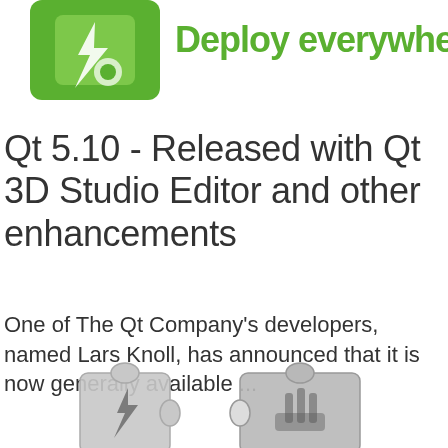[Figure (logo): Qt logo (green puzzle piece icon) with tagline 'Deploy everywhere.' in green text on white background, partially visible at top of page]
Qt 5.10 - Released with Qt 3D Studio Editor and other enhancements
One of The Qt Company's developers, named Lars Knoll, has announced that it is now generally available ...
[Figure (illustration): Grey and white puzzle pieces with small icons on them, partially visible at bottom of page]